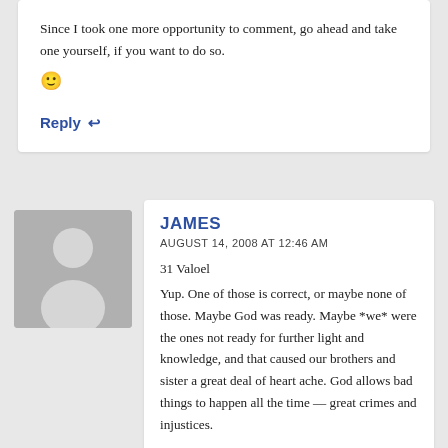Since I took one more opportunity to comment, go ahead and take one yourself, if you want to do so. 🙂
Reply ↩
[Figure (illustration): Generic user avatar: grey silhouette of a person on grey background]
JAMES
AUGUST 14, 2008 AT 12:46 AM
31 Valoel
Yup. One of those is correct, or maybe none of those. Maybe God was ready. Maybe *we* were the ones not ready for further light and knowledge, and that caused our brothers and sister a great deal of heart ache. God allows bad things to happen all the time — great crimes and injustices.